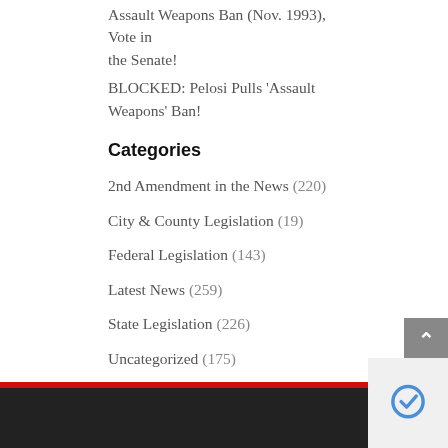Assault Weapons Ban (Nov. 1993), Vote in the Senate!
BLOCKED: Pelosi Pulls 'Assault Weapons' Ban!
Categories
2nd Amendment in the News (220)
City & County Legislation (19)
Federal Legislation (143)
Latest News (259)
State Legislation (226)
Uncategorized (175)
Archives
Select Month